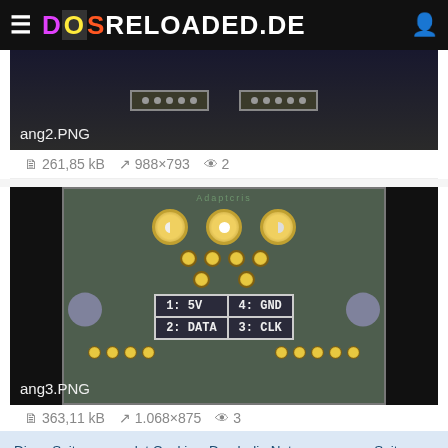DOSRELOADED.DE
[Figure (photo): Partial view of a circuit board image labeled ang2.PNG]
ang2.PNG
261,85 kB  988×793  2
[Figure (engineering-diagram): Circuit board back view showing gold contacts, pin groups, and pinout table: 1:5V, 2:DATA, 3:CLK, 4:GND. Labeled ang3.PNG]
ang3.PNG
363,11 kB  1.068×875  3
Diese Seite verwendet Cookies. Durch die Nutzung unserer Seite erklären Sie sich damit einverstanden, dass wir Cookies setzen.
Weitere Informationen  Schließen